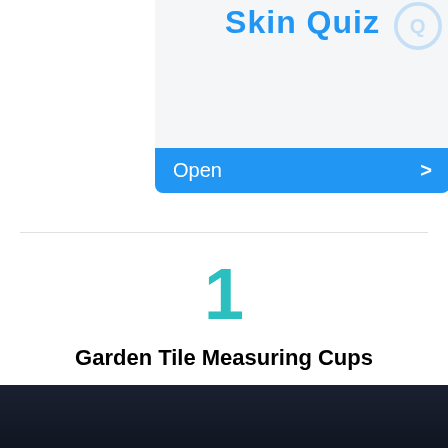[Figure (screenshot): Top portion of a mobile app card showing 'Skin Quiz' title in blue text with a faint circular logo, on a light gray background, with a blue 'Open >' button at the bottom of the card.]
1
Garden Tile Measuring Cups
[Figure (photo): Dark navy/black background section at the bottom of the page.]